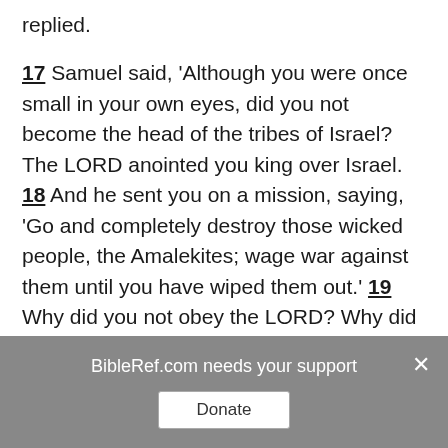replied.
17 Samuel said, 'Although you were once small in your own eyes, did you not become the head of the tribes of Israel? The LORD anointed you king over Israel. 18 And he sent you on a mission, saying, 'Go and completely destroy those wicked people, the Amalekites; wage war against them until you have wiped them out.' 19 Why did you not obey the LORD? Why did you pounce on the plunder and do evil in the eyes of the LORD?'
20 But I did obey the LORD,' Saul said. 'I went on
BibleRef.com needs your support
Donate